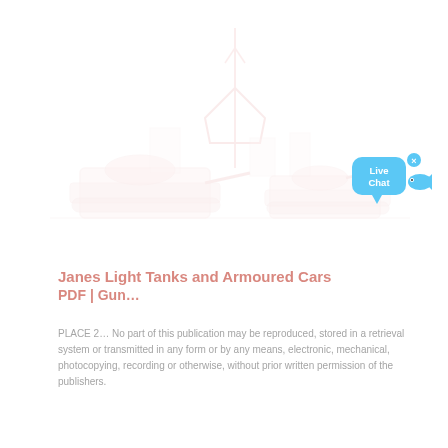[Figure (illustration): Very faint/watermark background illustration of tanks and armoured vehicles with a tower or antenna structure in the centre, rendered in pale pinkish-red tones almost white.]
[Figure (other): Live Chat widget: a blue speech bubble labelled 'Live Chat' with a blue fish icon to the right and a small close (x) button.]
Janes Light Tanks and Armoured Cars PDF | Gun...
PLACE 2... No part of this publication may be reproduced, sorted in a retrieval system or transmitted in any form or by any means, electronic, mechanical, photocopying, recording or otherwise, without prior written permission of the publishers.